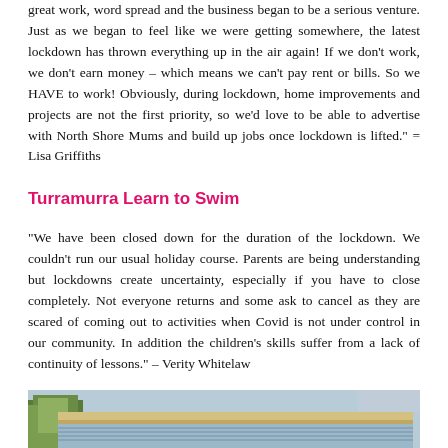great work, word spread and the business began to be a serious venture. Just as we began to feel like we were getting somewhere, the latest lockdown has thrown everything up in the air again! If we don't work, we don't earn money – which means we can't pay rent or bills. So we HAVE to work! Obviously, during lockdown, home improvements and projects are not the first priority, so we'd love to be able to advertise with North Shore Mums and build up jobs once lockdown is lifted." = Lisa Griffiths
Turramurra Learn to Swim
“We have been closed down for the duration of the lockdown. We couldn't run our usual holiday course. Parents are being understanding but lockdowns create uncertainty, especially if you have to close completely. Not everyone returns and some ask to cancel as they are scared of coming out to activities when Covid is not under control in our community. In addition the children's skills suffer from a lack of continuity of lessons.” – Verity Whitelaw
[Figure (photo): Exterior photo showing the roof structure of Turramurra Learn to Swim facility, with trees visible in the background and a corrugated or louvred roof visible in the foreground.]